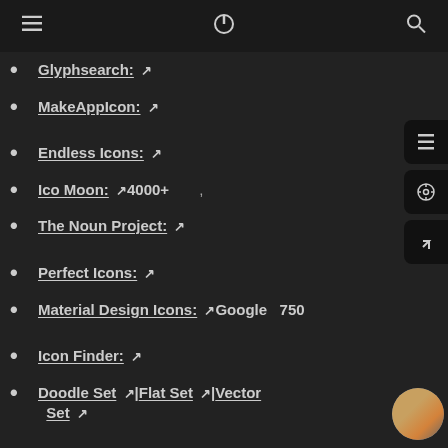☰  ⏻  🔍
Glyphsearch: 🔗
MakeAppIcon: 🔗
Endless Icons: 🔗
Ico Moon: 🔗4000+
The Noun Project: 🔗
Perfect Icons: 🔗
Material Design Icons: 🔗Google   750
Icon Finder: 🔗
Doodle Set 🔗|Flat Set 🔗|Vector Set 🔗